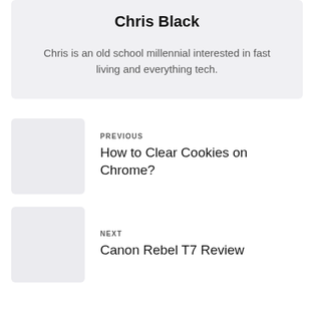Chris Black
Chris is an old school millennial interested in fast living and everything tech.
PREVIOUS
How to Clear Cookies on Chrome?
NEXT
Canon Rebel T7 Review